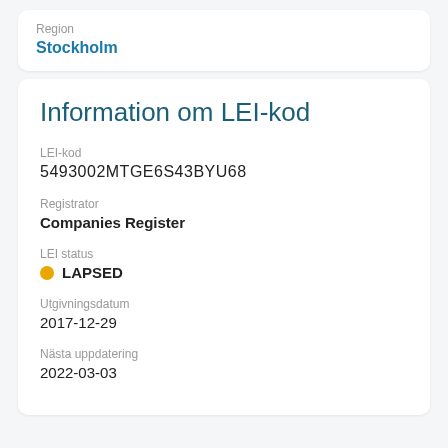Region
Stockholm
Information om LEI-kod
LEI-kod
5493002MTGE6S43BYU68
Registrator
Companies Register
LEI status
LAPSED
Utgivningsdatum
2017-12-29
Nästa uppdatering
2022-03-03